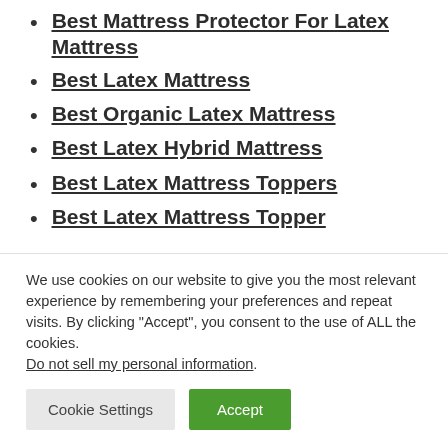Best Mattress Protector For Latex Mattress
Best Latex Mattress
Best Organic Latex Mattress
Best Latex Hybrid Mattress
Best Latex Mattress Toppers
Best Latex Mattress Topper
We use cookies on our website to give you the most relevant experience by remembering your preferences and repeat visits. By clicking “Accept”, you consent to the use of ALL the cookies. Do not sell my personal information.